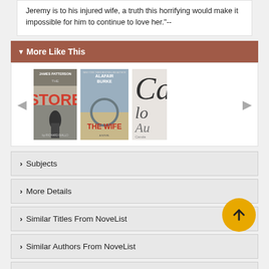Jeremy is to his injured wife, a truth this horrifying would make it impossible for him to continue to love her."--
▾ More Like This
[Figure (screenshot): Carousel of book covers: 'The Store' by James Patterson & Richard DiLallo, 'The Wife' by Alafair Burke, and a partially visible third book cover (Carola...). Left and right navigation arrows flank the book covers.]
› Subjects
› More Details
› Similar Titles From NoveList
› Similar Authors From NoveList
› ...